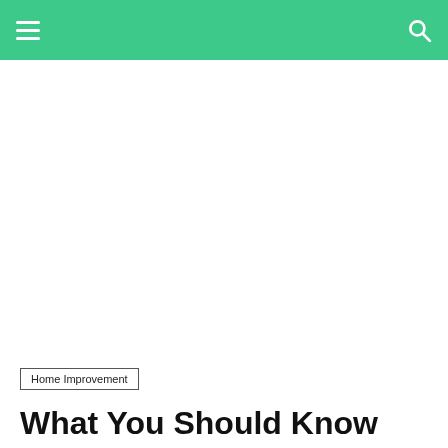[Figure (other): Large white/blank image placeholder area below the navigation bar]
Home Improvement
What You Should Know About